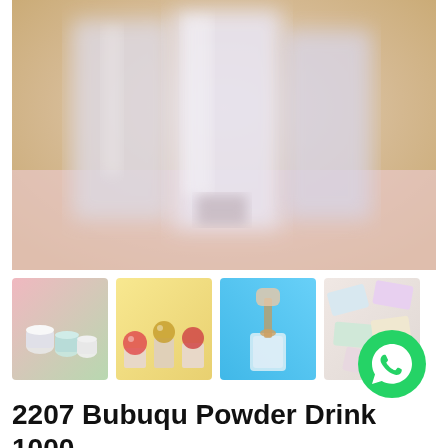[Figure (photo): Main product photo: blurred image showing tall metallic/silver containers on a pink surface with warm golden background]
[Figure (photo): Thumbnail 1: Small pastel-colored cups and containers on pink-green background]
[Figure (photo): Thumbnail 2: Colorful macarons or balls on pedestals with yellow background]
[Figure (photo): Thumbnail 3: Drink being poured into glass on blue background]
[Figure (photo): Thumbnail 4: Powder drink sachets/packets scattered, with WhatsApp icon overlay]
2207 Bubuqu Powder Drink 1000